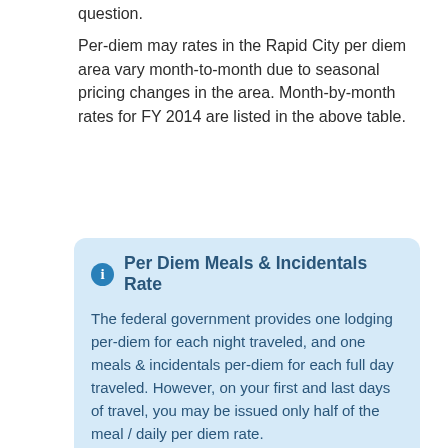question.
Per-diem may rates in the Rapid City per diem area vary month-to-month due to seasonal pricing changes in the area. Month-by-month rates for FY 2014 are listed in the above table.
Per Diem Meals & Incidentals Rate
The federal government provides one lodging per-diem for each night traveled, and one meals & incidentals per-diem for each full day traveled. However, on your first and last days of travel, you may be issued only half of the meal / daily per diem rate.
If you spend less then the $51.00 meals & incidentals per diem in any day, you get to keep the remainder.